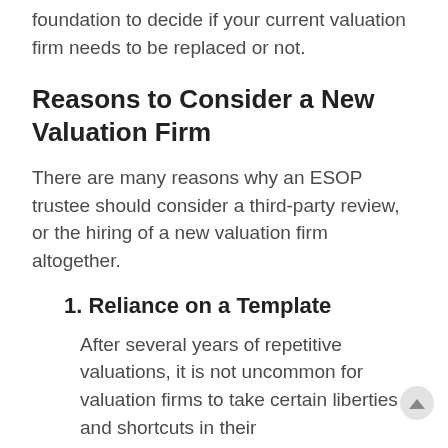foundation to decide if your current valuation firm needs to be replaced or not.
Reasons to Consider a New Valuation Firm
There are many reasons why an ESOP trustee should consider a third-party review, or the hiring of a new valuation firm altogether.
1. Reliance on a Template
After several years of repetitive valuations, it is not uncommon for valuation firms to take certain liberties and shortcuts in their